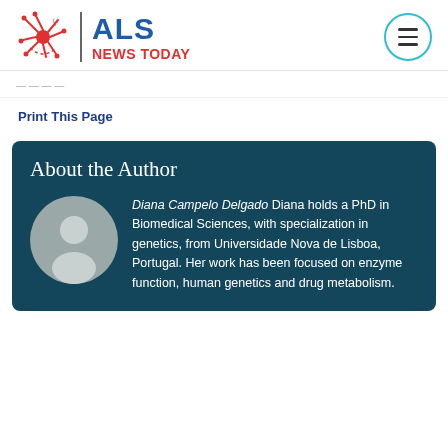[Figure (logo): ALS News Today logo with neuron icon and red/blue text]
Print This Page
About the Author
[Figure (illustration): Default author avatar - grey silhouette of a person in a circle]
Diana Campelo Delgado Diana holds a PhD in Biomedical Sciences, with specialization in genetics, from Universidade Nova de Lisboa, Portugal. Her work has been focused on enzyme function, human genetics and drug metabolism.